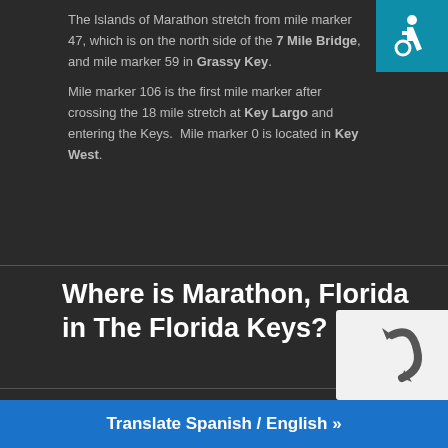The Islands of Marathon stretch from mile marker 47, which is on the north side of the 7 Mile Bridge, and mile marker 59 in Grassy Key.

Mile marker 106 is the first mile marker after crossing the 18 mile stretch at Key Largo and entering the Keys. Mile marker 0 is located in Key West.
[Figure (infographic): Accessibility icon (wheelchair symbol) on teal/blue background in top-right corner]
Where is Marathon, Florida in The Florida Keys?
Marathon, Florida is located in the middle of The Florida Keys. It is a city spread over Knight's Key, Boot Key, Key Vaca, Fat Deer Key, Long Point Key, Crawl Key and Grassy Key islands in the middle of the Florida Keys. It is in the County of Monroe in Florida.
What's Happening in Marathon & the Surrounding Florida Keys?
Marathon Florida is a City made up of 12 islands located in the middle of The Florida Ke...
[Figure (other): reCAPTCHA widget on light gray/white background]
Translate Spanish / English »